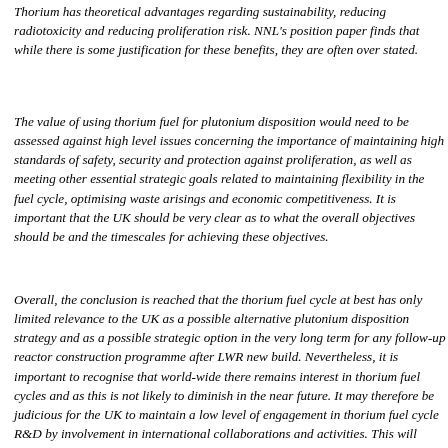Thorium has theoretical advantages regarding sustainability, reducing radiotoxicity and reducing proliferation risk. NNL's position paper finds that while there is some justification for these benefits, they are often over stated.
The value of using thorium fuel for plutonium disposition would need to be assessed against high level issues concerning the importance of maintaining high standards of safety, security and protection against proliferation, as well as meeting other essential strategic goals related to maintaining flexibility in the fuel cycle, optimising waste arisings and economic competitiveness. It is important that the UK should be very clear as to what the overall objectives should be and the timescales for achieving these objectives.
Overall, the conclusion is reached that the thorium fuel cycle at best has only limited relevance to the UK as a possible alternative plutonium disposition strategy and as a possible strategic option in the very long term for any follow-up reactor construction programme after LWR new build. Nevertheless, it is important to recognise that world-wide there remains interest in thorium fuel cycles and as this is not likely to diminish in the near future. It may therefore be judicious for the UK to maintain a low level of engagement in thorium fuel cycle R&D by involvement in international collaborations and activities. This will enable the UK to